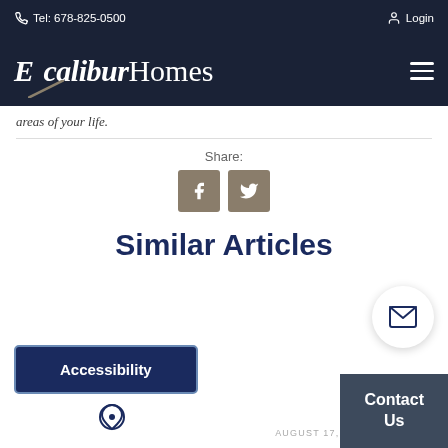Tel: 678-825-0500 | Login
[Figure (logo): Excalibur Homes logo in white on dark navy background with hamburger menu icon]
areas of your life.
Share:
[Figure (illustration): Facebook and Twitter share icons in tan/brown square buttons]
Similar Articles
Accessibility
Contact Us
AUGUST 17, 2022